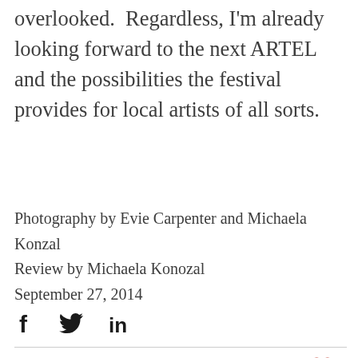overlooked.  Regardless, I'm already looking forward to the next ARTEL and the possibilities the festival provides for local artists of all sorts.
Photography by Evie Carpenter and Michaela Konzal
Review by Michaela Konozal
September 27, 2014
[Figure (other): Social sharing icons: Facebook (f), Twitter (bird), LinkedIn (in)]
[Figure (other): Heart (like) icon outline in red/coral color]